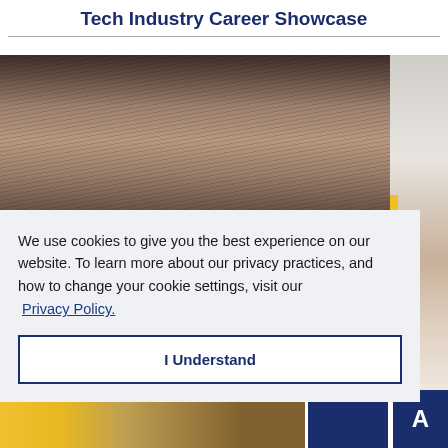Tech Industry Career Showcase
[Figure (photo): Partial view of a person's head (hair visible) in the upper portion, with a right-side strip showing a blurred background. Bottom strip shows another partially visible image. Cookie consent overlay covers the lower portion.]
We use cookies to give you the best experience on our website. To learn more about our privacy practices, and how to change your cookie settings, visit our Privacy Policy.
I Understand